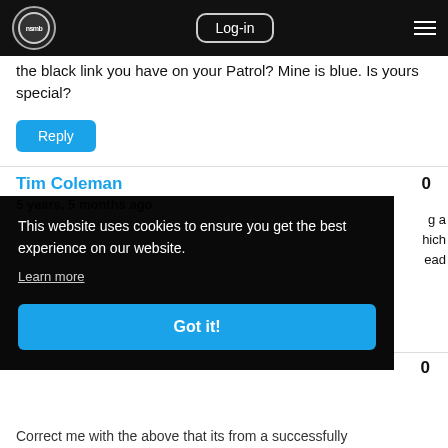nsmb Log-in [menu]
the black link you have on your Patrol? Mine is blue. Is yours special?
Reply
Tim Coleman
5 years, 5 months ago
This website uses cookies to ensure you get the best experience on our website.
Learn more
Got it!
0
0